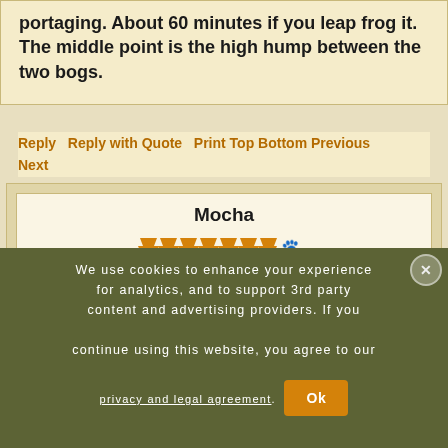portaging. About 60 minutes if you leap frog it. The middle point is the high hump between the two bogs.
Reply   Reply with Quote   Print Top Bottom Previous Next
Mocha
[Figure (illustration): User rating shown as 7 orange pine tree icons followed by a black paw print icon]
02/21/2022 05:20PM
I like route 2. The only fish I ever catch is bass and largemouth bass.
Also, you might want to check fire maps for fairness and fire restrictions that might be involved.
We use cookies to enhance your experience for analytics, and to support 3rd party content and advertising providers. If you continue using this website, you agree to our privacy and legal agreement.
Ok